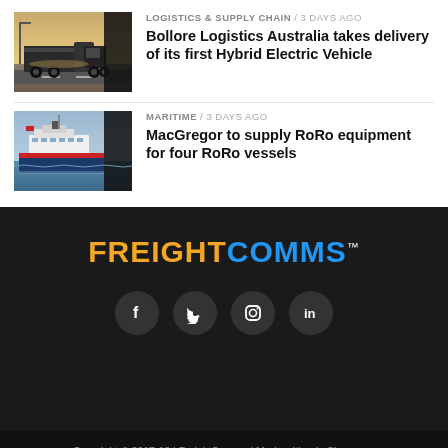LOGISTICS & SUPPLY CHAIN / 3 days ago
Bollore Logistics Australia takes delivery of its first Hybrid Electric Vehicle
[Figure (photo): A truck on a highway at dusk]
MARITIME / 3 days ago
MacGregor to supply RoRo equipment for four RoRo vessels
[Figure (photo): A large cargo ship on water]
FREIGHTCOMMS
[Figure (infographic): Social media icons: Facebook, Twitter, Instagram, LinkedIn]
Copyright © 2017-18 | FreightComms | Made with ♥ in Singapore